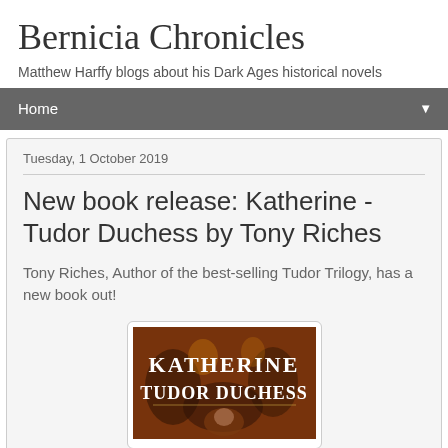Bernicia Chronicles
Matthew Harffy blogs about his Dark Ages historical novels
Home ▼
Tuesday, 1 October 2019
New book release: Katherine - Tudor Duchess by Tony Riches
Tony Riches, Author of the best-selling Tudor Trilogy, has a new book out!
[Figure (illustration): Book cover of Katherine - Tudor Duchess showing decorative medieval imagery with the title 'KATHERINE TUDOR DUCHESS' in white text]